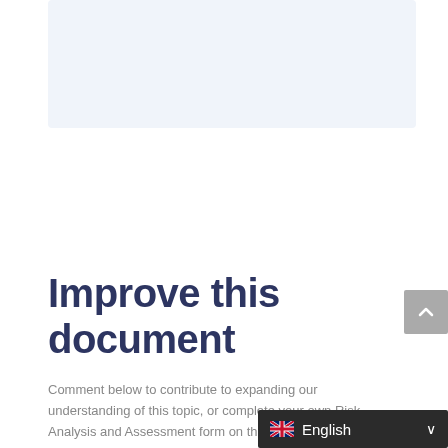[Figure (other): Light blue rectangular background box at the top of the page]
Improve this document
Comment below to contribute to expanding our understanding of this topic, or complete your own Risk Analysis and Assessment form on the link below.